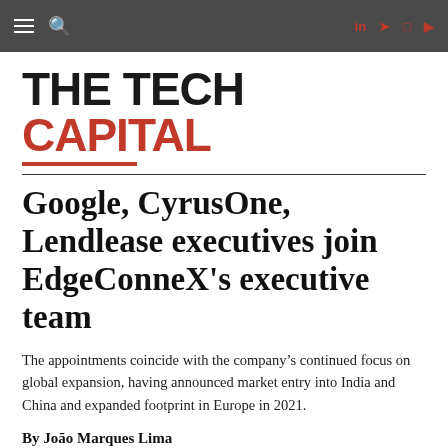THE TECH CAPITAL — navigation bar with hamburger menu, search icon, and social media icons (LinkedIn, Twitter, Instagram, YouTube)
THE TECH CAPITAL
Google, CyrusOne, Lendlease executives join EdgeConneX's executive team
The appointments coincide with the company's continued focus on global expansion, having announced market entry into India and China and expanded footprint in Europe in 2021.
By João Marques Lima